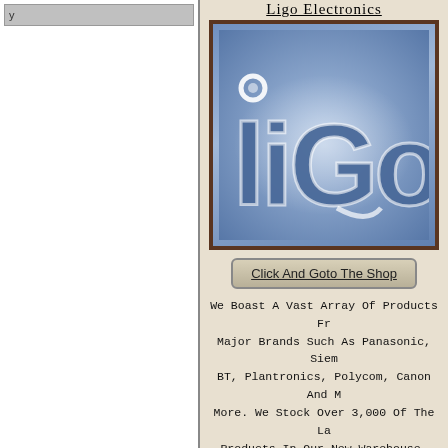Ligo Electronics
[Figure (logo): Ligo Electronics logo — blue gradient background with glowing white 'liGo' text]
Click And Goto The Shop
We Boast A Vast Array Of Products Fr... Major Brands Such As Panasonic, Siem... BT, Plantronics, Polycom, Canon And M... More. We Stock Over 3,000 Of The La... Products In Our New Warehouse.
Ligo Electronics Is Based In The Uk And Ha... Over All Shop Rating Of - 6/10
To See A Sample Of The Prices And Products For This Shop Click H...